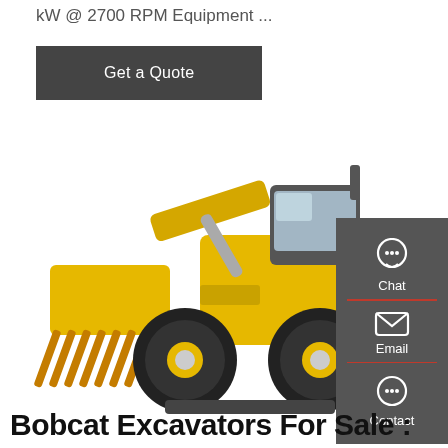kW @ 2700 RPM Equipment ...
Get a Quote
[Figure (photo): Yellow wheel loader / bobcat excavator with a large front bucket attachment with tines, on a white background]
Chat
Email
Contact
Bobcat Excavators For Sale :